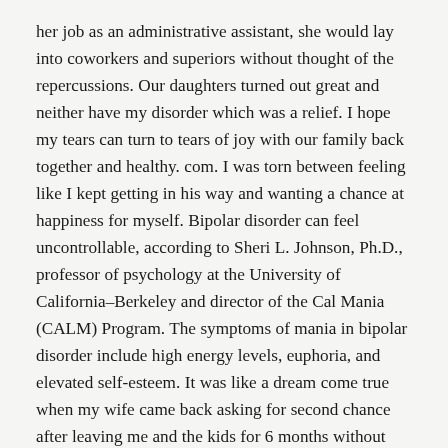her job as an administrative assistant, she would lay into coworkers and superiors without thought of the repercussions. Our daughters turned out great and neither have my disorder which was a relief. I hope my tears can turn to tears of joy with our family back together and healthy. com. I was torn between feeling like I kept getting in his way and wanting a chance at happiness for myself. Bipolar disorder can feel uncontrollable, according to Sheri L. Johnson, Ph.D., professor of psychology at the University of California–Berkeley and director of the Cal Mania (CALM) Program. The symptoms of mania in bipolar disorder include high energy levels, euphoria, and elevated self‑esteem. It was like a dream come true when my wife came back asking for second chance after leaving me and the kids for 6 months without communication. She told me she loved me and that was the last time I have heard a sincere I love you from her. Narcissism How to Leave a Narcissist or Toxic Relationship Ending an abusive relationship is hard. He still pestered me to improve my treatment, quit the substances, etc. That's a bigge... no far